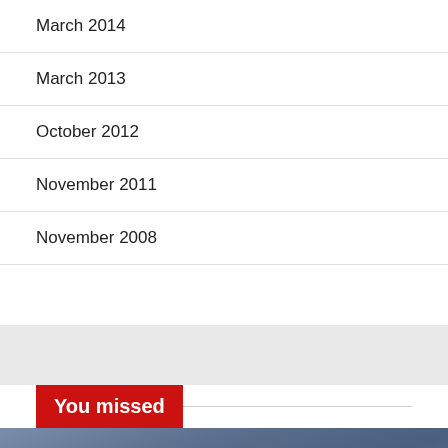March 2014
March 2013
October 2012
November 2011
November 2008
You missed
[Figure (photo): Photo showing person wearing blue jeans, with a red LUXURY EARRINGS label badge overlaid at bottom left, and a red scroll-to-top arrow button at bottom right.]